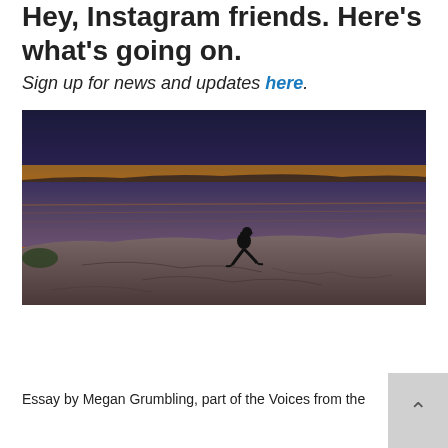Hey, Instagram friends. Here's what's going on.
Sign up for news and updates here.
[Figure (photo): A person walks on rocky coastal terrain in silhouette against a vibrant orange and purple sunset over the ocean.]
Where the Land Meets the Sea
Essay by Megan Grumbling, part of the Voices from the